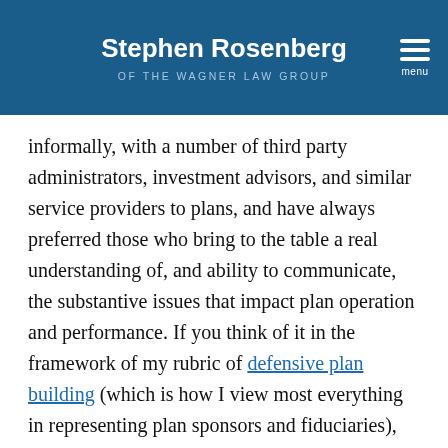Stephen Rosenberg / OF THE WAGNER LAW GROUP
informally, with a number of third party administrators, investment advisors, and similar service providers to plans, and have always preferred those who bring to the table a real understanding of, and ability to communicate, the substantive issues that impact plan operation and performance. If you think of it in the framework of my rubric of defensive plan building (which is how I view most everything in representing plan sponsors and fiduciaries), hiring advisors who fit that description goes far towards protecting plan sponsors and fiduciaries from liability, because fiduciaries satisfy – in essence – their duty of